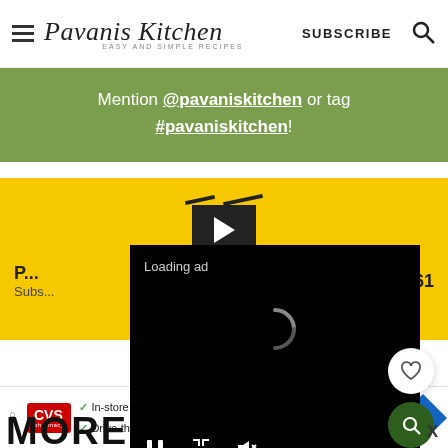Pavanis Kitchen — EASY AND SIMPLE RECIPES — SUBSCRIBE
Mention @pavaniskitchen or tag #pavaniskitchen!
[Figure (screenshot): Yellow background video subscribe widget with play button and subscriber count 61]
[Figure (screenshot): Black video ad overlay showing 'Loading ad' with spinner and media controls (pause, fullscreen, mute)]
MORE IDEAS
[Figure (screenshot): CVS Pharmacy advertisement banner: In-store shopping, Drive-through, Delivery]